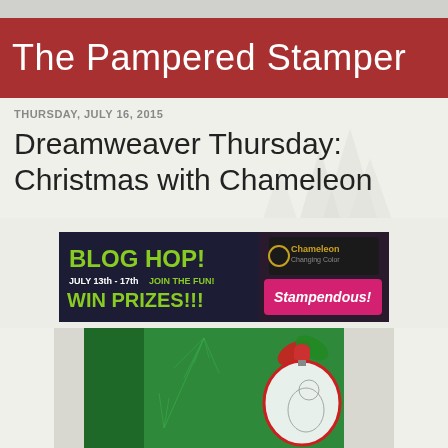The Pampered Stamper
THURSDAY, JULY 16, 2015
Dreamweaver Thursday: Christmas with Chameleon
[Figure (photo): Blog Hop promotional banner: BLOG HOP! JULY 13th - 17th JOIN THE FUN! WIN PRIZES!!! with Chameleon Changing Color and Stampendous logos]
[Figure (photo): Green embossed Christmas card with pine branch texture and a decorated ornament with a squirrel, tied with red and green ribbon bow]